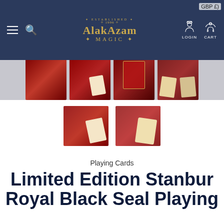[Figure (screenshot): Alakazam Magic website screenshot showing navigation bar with logo, hamburger menu, search, login and cart icons, thumbnail gallery of playing card product images, and product title text.]
GBP £)
Playing Cards
Limited Edition Stanbur Royal Black Seal Playing